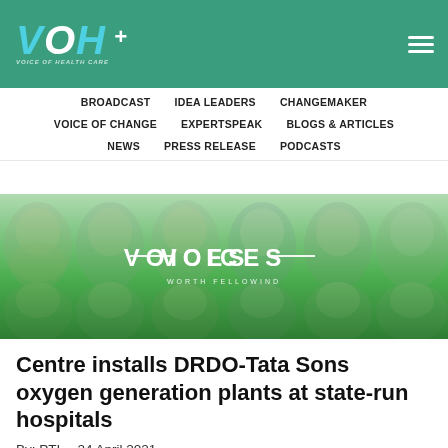VOH - Voice of Health Care
[Figure (screenshot): Website navigation banner showing menu items: BROADCAST, IDEA LEADERS, CHANGEMAKER, VOICE OF CHANGE, EXPERTSPEAK, BLOGS & ARTICLES, NEWS, PRESS RELEASE, PODCASTS]
[Figure (photo): A composite banner image showing multiple faces/headshots of healthcare professionals with green overlay gradient and the text VOICES / WORTH FOLLOWING in the center]
Centre installs DRDO-Tata Sons oxygen generation plants at state-run hospitals
By: PTI · 24 April 2021